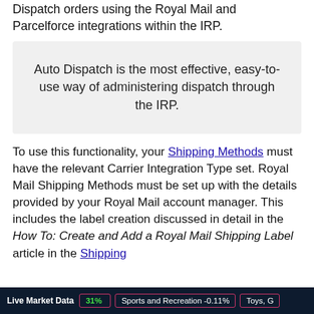Dispatch orders using the Royal Mail and Parcelforce integrations within the IRP.
Auto Dispatch is the most effective, easy-to-use way of administering dispatch through the IRP.
To use this functionality, your Shipping Methods must have the relevant Carrier Integration Type set. Royal Mail Shipping Methods must be set up with the details provided by your Royal Mail account manager. This includes the label creation discussed in detail in the How To: Create and Add a Royal Mail Shipping Label article in the Shipping
Live Market Data  31%  Sports and Recreation -0.11%  Toys, G